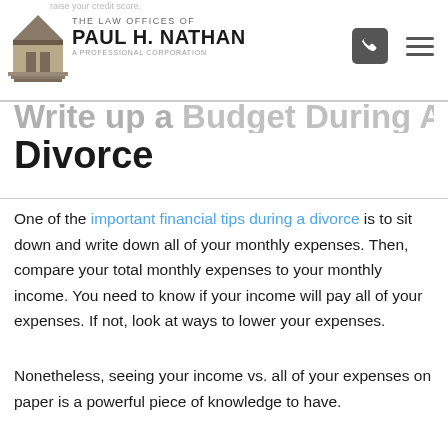THE LAW OFFICES OF PAUL H. NATHAN A PROFESSIONAL CORPORATION
Write up a Budget During A Divorce
One of the important financial tips during a divorce is to sit down and write down all of your monthly expenses.  Then, compare your total monthly expenses to your monthly income.  You need to know if your income will pay all of your expenses.  If not, look at ways to lower your expenses.
Nonetheless, seeing your income vs. all of your expenses on paper is a powerful piece of knowledge to have.